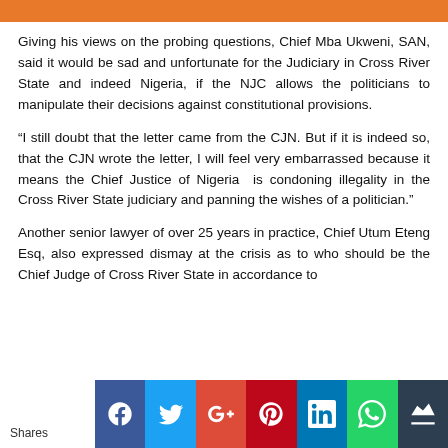Petroleum Ministers Trial
Giving his views on the probing questions, Chief Mba Ukweni, SAN, said it would be sad and unfortunate for the Judiciary in Cross River State and indeed Nigeria, if the NJC allows the politicians to manipulate their decisions against constitutional provisions.
“I still doubt that the letter came from the CJN. But if it is indeed so, that the CJN wrote the letter, I will feel very embarrassed because it means the Chief Justice of Nigeria  is condoning illegality in the Cross River State judiciary and panning the wishes of a politician.”
Another senior lawyer of over 25 years in practice, Chief Utum Eteng Esq, also expressed dismay at the crisis as to who should be the Chief Judge of Cross River State in accordance to...
Shares